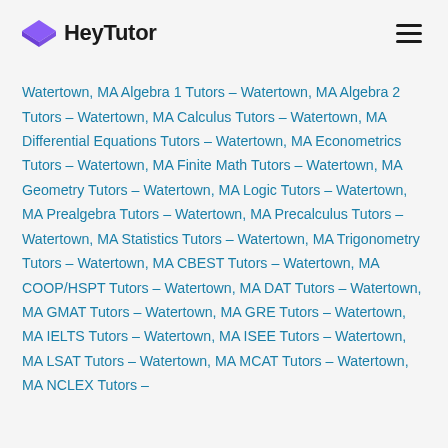HeyTutor
Watertown, MA Algebra 1 Tutors – Watertown, MA Algebra 2 Tutors – Watertown, MA Calculus Tutors – Watertown, MA Differential Equations Tutors – Watertown, MA Econometrics Tutors – Watertown, MA Finite Math Tutors – Watertown, MA Geometry Tutors – Watertown, MA Logic Tutors – Watertown, MA Prealgebra Tutors – Watertown, MA Precalculus Tutors – Watertown, MA Statistics Tutors – Watertown, MA Trigonometry Tutors – Watertown, MA CBEST Tutors – Watertown, MA COOP/HSPT Tutors – Watertown, MA DAT Tutors – Watertown, MA GMAT Tutors – Watertown, MA GRE Tutors – Watertown, MA IELTS Tutors – Watertown, MA ISEE Tutors – Watertown, MA LSAT Tutors – Watertown, MA MCAT Tutors – Watertown, MA NCLEX Tutors –